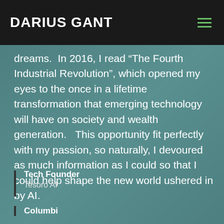DARIUS GANT
dreams.  In 2016, I read “The Fourth Industrial Revolution”, which opened my eyes to the once in a lifetime transformation that emerging technology will have on society and wealth generation.   This opportunity fit perfectly with my passion, so naturally, I devoured as much information as I could so that I could help shape the new world ushered in by AI.
Tech Founder
Tesoro AI